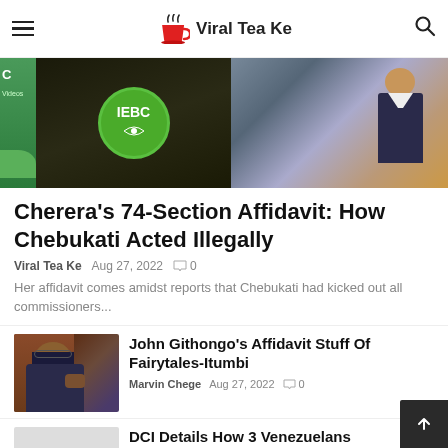Viral Tea Ke
[Figure (photo): IEBC banner with commissioners, showing green IEBC logo badge on dark background]
Cherera's 74-Section Affidavit: How Chebukati Acted Illegally
Viral Tea Ke  Aug 27, 2022  0
Her affidavit comes amidst reports that Chebukati had kicked out all commissioners...
[Figure (photo): Portrait photo of John Githongo, man in suit with glasses]
John Githongo's Affidavit Stuff Of Fairytales-Itumbi
Marvin Chege  Aug 27, 2022  0
DCI Details How 3 Venezuelans Breached IEBC System